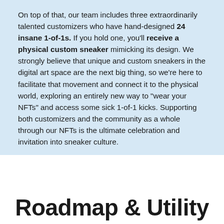On top of that, our team includes three extraordinarily talented customizers who have hand-designed 24 insane 1-of-1s. If you hold one, you'll receive a physical custom sneaker mimicking its design. We strongly believe that unique and custom sneakers in the digital art space are the next big thing, so we're here to facilitate that movement and connect it to the physical world, exploring an entirely new way to "wear your NFTs" and access some sick 1-of-1 kicks. Supporting both customizers and the community as a whole through our NFTs is the ultimate celebration and invitation into sneaker culture.
Roadmap & Utility